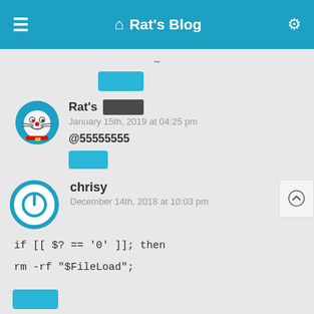Rat's Blog
~
[Figure (other): Blue reply button (redacted)]
Rat's [redacted] January 15th, 2019 at 04:25 pm
@55555555
[Figure (other): Blue reply button (redacted)]
chrisy December 14th, 2018 at 10:03 pm
if [[ $? == '0' ]]; then
rm -rf "$FileLoad";
[Figure (other): Blue reply button (redacted)]
Rat's [redacted]